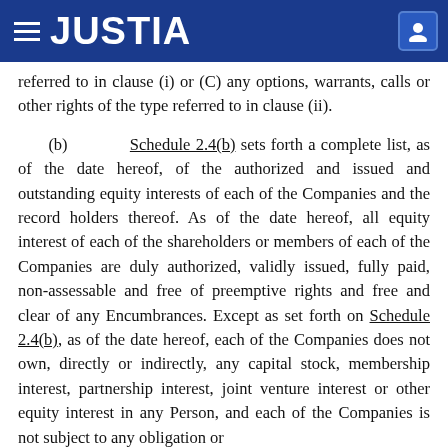JUSTIA
referred to in clause (i) or (C) any options, warrants, calls or other rights of the type referred to in clause (ii).
(b) Schedule 2.4(b) sets forth a complete list, as of the date hereof, of the authorized and issued and outstanding equity interests of each of the Companies and the record holders thereof. As of the date hereof, all equity interest of each of the shareholders or members of each of the Companies are duly authorized, validly issued, fully paid, non-assessable and free of preemptive rights and free and clear of any Encumbrances. Except as set forth on Schedule 2.4(b), as of the date hereof, each of the Companies does not own, directly or indirectly, any capital stock, membership interest, partnership interest, joint venture interest or other equity interest in any Person, and each of the Companies is not subject to any obligation or